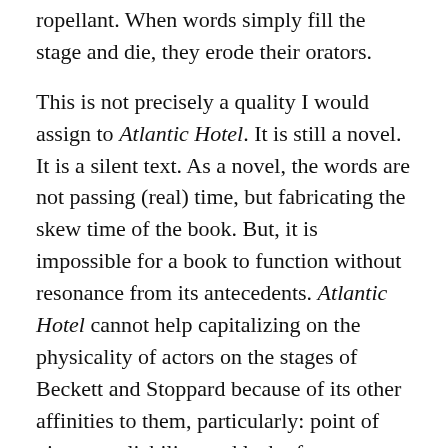propellant. When words simply fill the stage and die, they erode their orators.
This is not precisely a quality I would assign to Atlantic Hotel. It is still a novel. It is a silent text. As a novel, the words are not passing (real) time, but fabricating the skew time of the book. But, it is impossible for a book to function without resonance from its antecedents. Atlantic Hotel cannot help capitalizing on the physicality of actors on the stages of Beckett and Stoppard because of its other affinities to them, particularly: point of view, unreliability, and lack of agency.
One of the benefits of drama is that there is not an easy analog to prose’s narrative point of view. With some exceptions, every word is first-person. Perhaps the most generally effective strategy for suppressing the presence of a figure in the text, strangely, is use of the first-person voice. This blurs one of the most